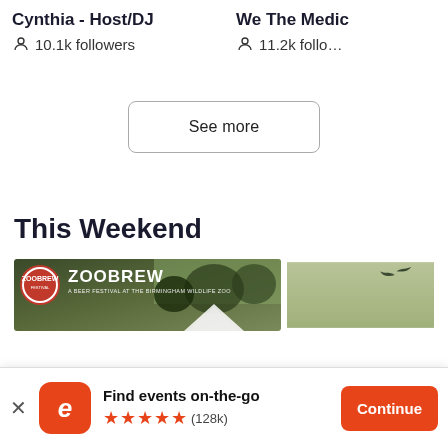Cynthia - Host/DJ
10.1k followers
We The Medic
11.2k followers
See more
This Weekend
[Figure (photo): ZOOBREW banner image with logo and outdoor event background]
[Figure (photo): Partial event image with green/sage background and bird silhouette]
Find events on-the-go
★★★★★ (128k)
Continue